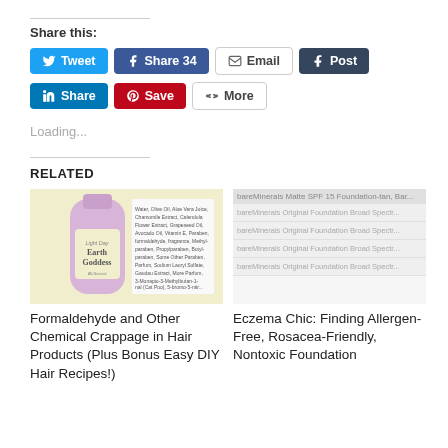Share this:
[Figure (screenshot): Social share buttons row 1: Tweet (Twitter), Share 34 (Facebook), Email, Post (Tumblr)]
[Figure (screenshot): Social share buttons row 2: Share (LinkedIn), Save (Pinterest), More]
Loading...
RELATED
[Figure (photo): Product image: Earth Goddess All-Natural hair product bottle with ingredient list]
Formaldehyde and Other Chemical Crappage in Hair Products (Plus Bonus Easy DIY Hair Recipes!)
[Figure (screenshot): bareMinerals foundation product listing screenshot]
Eczema Chic: Finding Allergen-Free, Rosacea-Friendly, Nontoxic Foundation